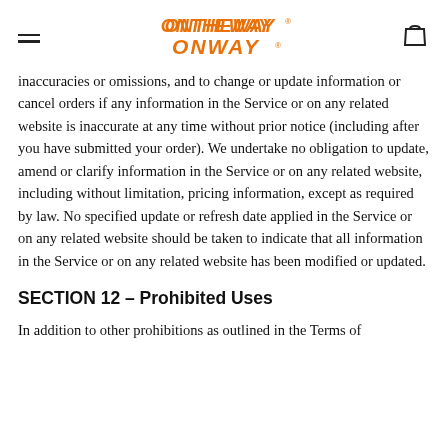ONTHEWAY ONWAY [logo with hamburger menu and bag icon]
inaccuracies or omissions, and to change or update information or cancel orders if any information in the Service or on any related website is inaccurate at any time without prior notice (including after you have submitted your order). We undertake no obligation to update, amend or clarify information in the Service or on any related website, including without limitation, pricing information, except as required by law. No specified update or refresh date applied in the Service or on any related website should be taken to indicate that all information in the Service or on any related website has been modified or updated.
SECTION 12 – Prohibited Uses
In addition to other prohibitions as outlined in the Terms of